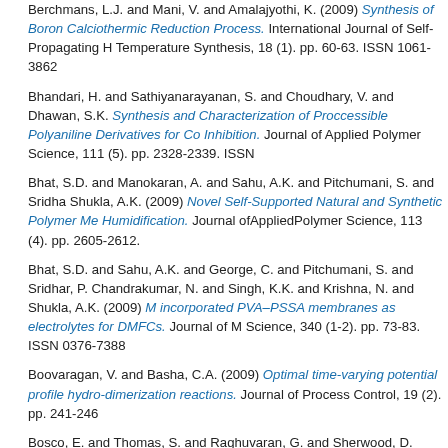Berchmans, L.J. and Mani, V. and Amalajyothi, K. (2009) Synthesis of Boron Calciothermic Reduction Process. International Journal of Self-Propagating High-Temperature Synthesis, 18 (1). pp. 60-63. ISSN 1061-3862
Bhandari, H. and Sathiyanarayanan, S. and Choudhary, V. and Dhawan, S.K. Synthesis and Characterization of Proccessible Polyaniline Derivatives for Corrosion Inhibition. Journal of Applied Polymer Science, 111 (5). pp. 2328-2339. ISSN
Bhat, S.D. and Manokaran, A. and Sahu, A.K. and Pitchumani, S. and Sridhar, P. and Shukla, A.K. (2009) Novel Self-Supported Natural and Synthetic Polymer Membranes for Humidification. Journal ofAppliedPolymer Science, 113 (4). pp. 2605-2612.
Bhat, S.D. and Sahu, A.K. and George, C. and Pitchumani, S. and Sridhar, P. and Chandrakumar, N. and Singh, K.K. and Krishna, N. and Shukla, A.K. (2009) Mesoporous silica incorporated PVA–PSSA membranes as electrolytes for DMFCs. Journal of Membrane Science, 340 (1-2). pp. 73-83. ISSN 0376-7388
Boovaragan, V. and Basha, C.A. (2009) Optimal time-varying potential profiles for electro hydro-dimerization reactions. Journal of Process Control, 19 (2). pp. 241-246.
Bosco, E. and Thomas, S. and Raghuvaran, G. and Sherwood, D. (2009) Simulated diffraction profiles of carbon nanotubes (CNTs): An efficient algorithm and a recurrence relation for characterising CNTs. Journal of Alloys and Compounds, 479 (1-2). pp. 484-48
C
Chandrasekar, M.S. and Shanmugasigamani, S. and Malathy, P. (2009) Morphology and texture of pulse plated zinc–cobalt alloy. Materials Chemistry and Physics, 11 pp. 603-611. ISSN 0254-0584
Chandrasekar, M.S. and Shanmugasigamani, S. and Malathy, P. (2009)